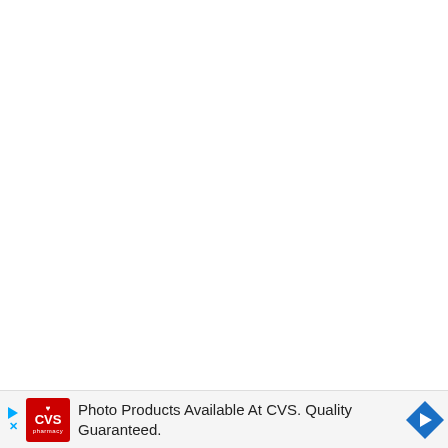[Figure (other): Mostly blank white page area above an advertisement banner]
Photo Products Available At CVS. Quality Guaranteed.